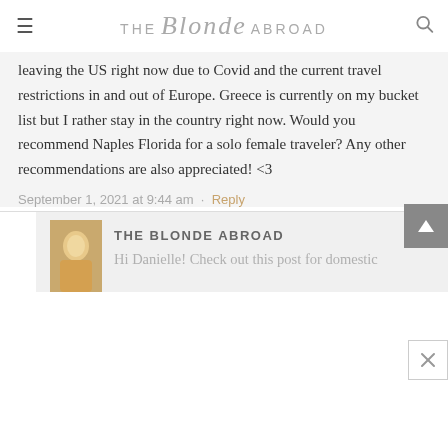THE Blonde ABROAD
leaving the US right now due to Covid and the current travel restrictions in and out of Europe. Greece is currently on my bucket list but I rather stay in the country right now. Would you recommend Naples Florida for a solo female traveler? Any other recommendations are also appreciated! <3
September 1, 2021 at 9:44 am · Reply
THE BLONDE ABROAD
Hi Danielle! Check out this post for domestic